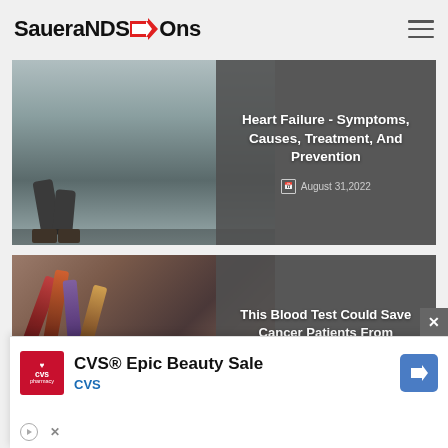SaueraNDS Ons
[Figure (photo): Article card with person kneeling on ground (heart failure article). Title: Heart Failure - Symptoms, Causes, Treatment, And Prevention. Date: August 31,2022]
[Figure (photo): Article card with blood test tubes on medical form background. Title: This Blood Test Could Save Cancer Patients From Unnecessary Chemotherapy. Date: August 31,2022]
[Figure (infographic): CVS Epic Beauty Sale advertisement banner with CVS pharmacy logo and navigation arrow icon]